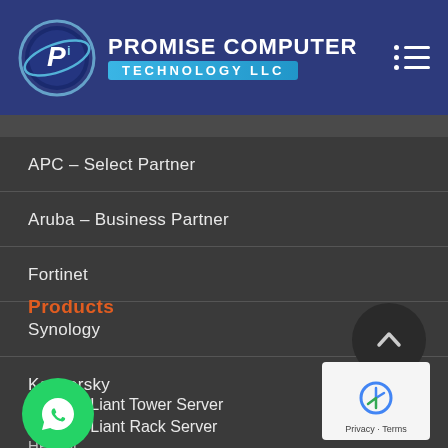[Figure (logo): Promise Computer Technology LLC logo with circular blue emblem and company name in white on dark blue header background]
APC – Select Partner
Aruba – Business Partner
Fortinet
Synology
Kaspersky
Products
HPE ProLiant Tower Server
HPE ProLiant Rack Server
HPE St…